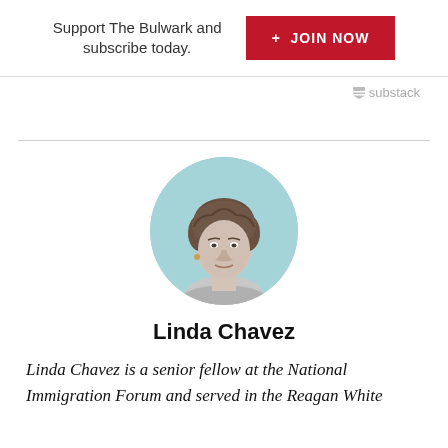Support The Bulwark and subscribe today.
+ JOIN NOW
[Figure (logo): Substack logo and wordmark]
[Figure (photo): Circular headshot of Linda Chavez, a woman with short brown hair, black-and-white photo with light teal background circle]
Linda Chavez
Linda Chavez is a senior fellow at the National Immigration Forum and served in the Reagan White